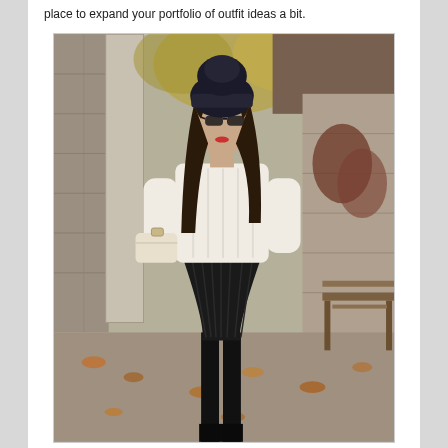place to expand your portfolio of outfit ideas a bit.
[Figure (photo): A young woman wearing a black pleated mini skirt, white chunky cable-knit sweater, black opaque tights, black ankle boots, and a black beanie hat with sunglasses, holding a cream-colored handbag. She is standing outdoors on a path with fallen autumn leaves, surrounded by stone walls and a wooden bench in the background.]